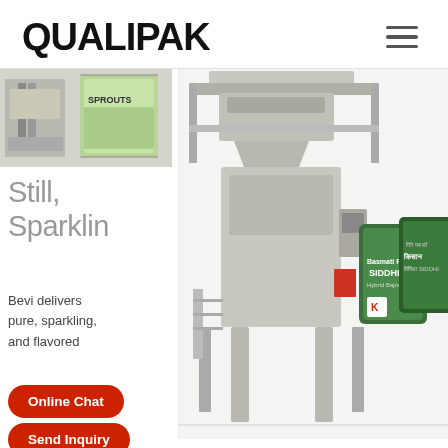QUALIPAK
[Figure (photo): Small thumbnail image showing a packaging machine on the left and a green snack food bag (SPROUTS) on the right]
Still, Sparklin
Bevi delivers pure, sparkling, and flavored
[Figure (photo): Large industrial VFFS (vertical form fill seal) packaging machine in stainless steel with a multi-head weigher on top, and two SIDDHI branded product bags shown to the right]
Online Chat
Send Inquiry